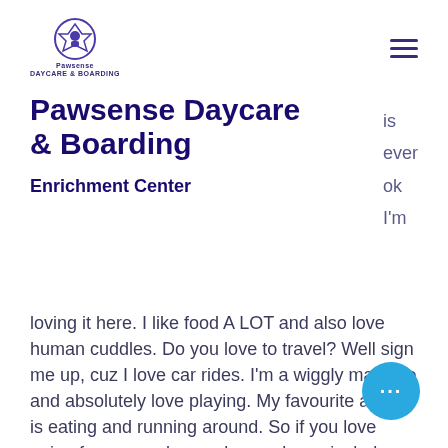Pawsense Daycare & Boarding Enrichment Center — logo and navigation
Pawsense Daycare & Boarding
Enrichment Center
is ever ok I'm loving it here. I like food A LOT and also love human cuddles. Do you love to travel? Well sign me up, cuz I love car rides. I'm a wiggly machine and absolutely love playing. My favourite activity is eating and running around. So if you love going for a run, please please please include me. My leash skills are being worked on, but I'm a very active pup. I'll need heavy exercise for at least 4 hours a day, so